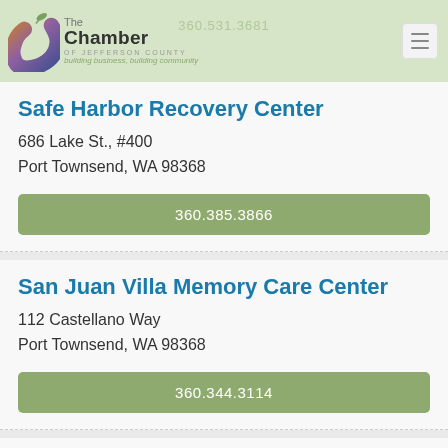360.531.3681 | The Chamber of Jefferson County | building business, building community
Safe Harbor Recovery Center
686 Lake St., #400
Port Townsend, WA 98368
360.385.3866
San Juan Villa Memory Care Center
112 Castellano Way
Port Townsend, WA 98368
360.344.3114